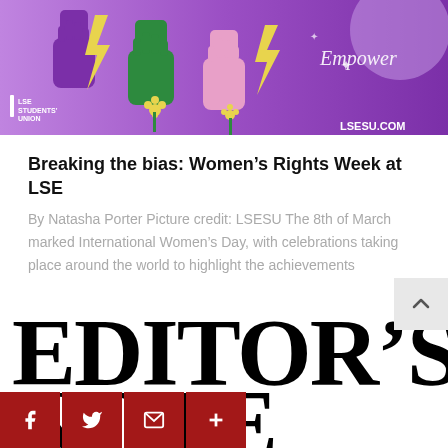[Figure (illustration): LSESU banner illustration showing raised fists in purple, green and pink colors with flowers, lightning bolts, and the word 'Empower'. LSE Students' Union logo on the left, LSESU.COM on the right.]
Breaking the bias: Women's Rights Week at LSE
By Natasha Porter Picture credit: LSESU The 8th of March marked International Women's Day, with celebrations taking place around the world to highlight the achievements
EDITOR'S NOTE